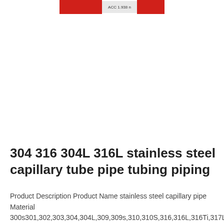[Figure (photo): Partial product photo showing red and white packaging with 'ACC 1.938' label visible at top center]
304 316 304L 316L stainless steel capillary tube pipe tubing piping
Product Description Product Name stainless steel capillary pipe Material 300s301,302,303,304,304L,309,309s,310,310S,316,316L,316Ti,317L 200s201,202,202cu,204 400s409,409L,410,420,420,421,429,440,441,444